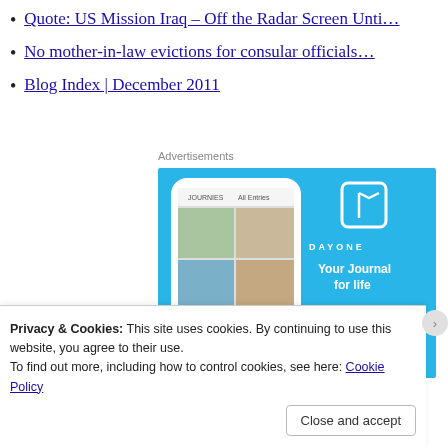Quote: US Mission Iraq – Off the Radar Screen Unti…
No mother-in-law evictions for consular officials…
Blog Index | December 2011
[Figure (other): Advertisement for DayOne journaling app showing a smartphone mockup with journal entries and photos, with text 'Your Journal for life' and a 'Get the app' button on a light blue background]
Privacy & Cookies: This site uses cookies. By continuing to use this website, you agree to their use.
To find out more, including how to control cookies, see here: Cookie Policy
Close and accept